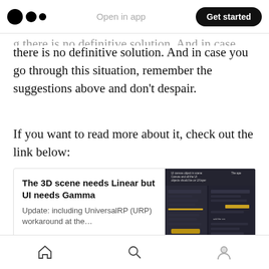Open in app | Get started
there is no definitive solution. And in case you go through this situation, remember the suggestions above and don't despair.
If you want to read more about it, check out the link below:
[Figure (screenshot): Link card preview for 'The 3D scene needs Linear but UI needs Gamma' article on cmwdexint.com. Shows article title, description 'Update: including UniversalRP (URP) workaround at the...' and a dark screenshot thumbnail of Unity editor panels.]
Home | Search | Profile